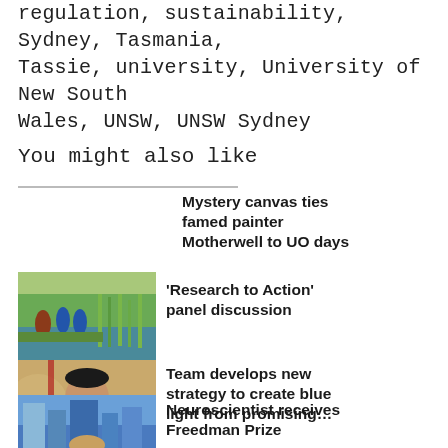regulation, sustainability, Sydney, Tasmania, Tassie, university, University of New South Wales, UNSW, UNSW Sydney
You might also like
Mystery canvas ties famed painter Motherwell to UO days
[Figure (photo): Photo of people working near a waterway with reeds and green landscape]
'Research to Action' panel discussion
[Figure (photo): Portrait photo of an Asian man in professional attire against a decorative background]
Team develops new strategy to create blue light from promising…
[Figure (photo): City skyline with tall buildings and a person partially visible]
Neuroscientist receives Freedman Prize